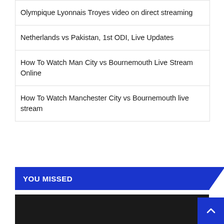Olympique Lyonnais Troyes video on direct streaming
Netherlands vs Pakistan, 1st ODI, Live Updates
How To Watch Man City vs Bournemouth Live Stream Online
How To Watch Manchester City vs Bournemouth live stream
YOU MISSED